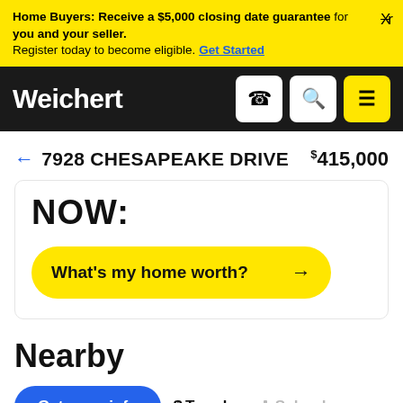Home Buyers: Receive a $5,000 closing date guarantee for you and your seller. Register today to become eligible. Get Started
[Figure (screenshot): Weichert navigation bar with logo and phone, search, menu icons]
← 7928 CHESAPEAKE DRIVE  $415,000
NOW:
What's my home worth? →
Nearby
Get more info
$ Trends  Schools